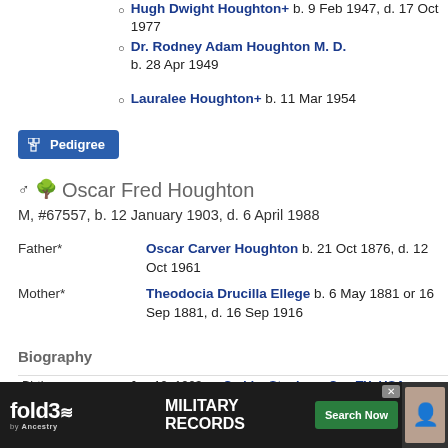Hugh Dwight Houghton+ b. 9 Feb 1947, d. 17 Oct 1977
Dr. Rodney Adam Houghton M. D. b. 28 Apr 1949
Lauralee Houghton+ b. 11 Mar 1954
[Figure (other): Pedigree button]
Oscar Fred Houghton
M, #67557, b. 12 January 1903, d. 6 April 1988
Father* Oscar Carver Houghton b. 21 Oct 1876, d. 12 Oct 1961
Mother* Theodocia Drucilla Ellege b. 6 May 1881 or 16 Sep 1881, d. 16 Sep 1916
Biography
| Event | Date | Location |
| --- | --- | --- |
| Birth | Jan 12, 1903 | Caddo, Stephens Co., TX, USA |
| 1940 Census | 1940 | Dallas, Dallas Co., TX, USA, age 37 |
| Death | Apr 6, 1988 | Roby or Rotan, Fisher Co., TX, US |
| Burial |  | …nto Co., TX |
[Figure (screenshot): fold3 Military Records advertisement banner]